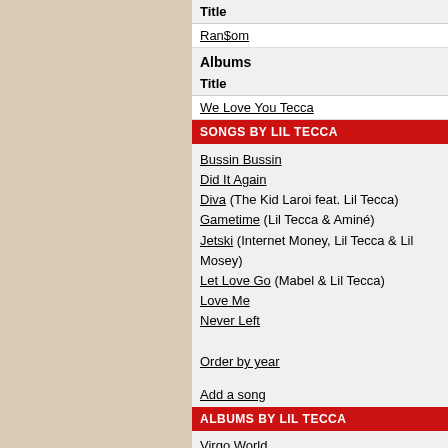Title
Ran$om
Albums
Title
We Love You Tecca
SONGS BY LIL TECCA
Bussin Bussin
Did It Again
Diva (The Kid Laroi feat. Lil Tecca)
Gametime (Lil Tecca & Aminé)
Jetski (Internet Money, Lil Tecca & Lil Mosey)
Let Love Go (Mabel & Lil Tecca)
Love Me
Never Left
Order by year
Add a song
ALBUMS BY LIL TECCA
Virgo World
We Love You Tecca
Add an album
INTERNET MONEY IN DANISH CHARTS
Singles
Title